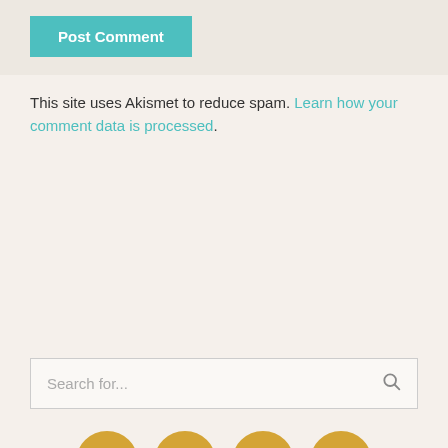Post Comment
This site uses Akismet to reduce spam. Learn how your comment data is processed.
Search for...
[Figure (infographic): Row of four golden circular social media icons: Facebook, Twitter, Instagram, Pinterest]